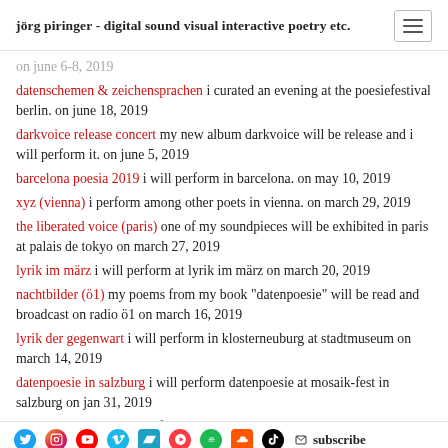jörg piringer - digital sound visual interactive poetry etc.
on june 6-8, 2019
datenschemen & zeichensprachen i curated an evening at the poesiefestival berlin. on june 18, 2019
darkvoice release concert my new album darkvoice will be release and i will perform it. on june 5, 2019
barcelona poesia 2019 i will perform in barcelona. on may 10, 2019
xyz (vienna) i perform among other poets in vienna. on march 29, 2019
the liberated voice (paris) one of my soundpieces will be exhibited in paris at palais de tokyo on march 27, 2019
lyrik im märz i will perform at lyrik im märz on march 20, 2019
nachtbilder (ö1) my poems from my book "datenpoesie" will be read and broadcast on radio ö1 on march 16, 2019
lyrik der gegenwart i will perform in klosterneuburg at stadtmuseum on march 14, 2019
datenpoesie in salzburg i will perform datenpoesie at mosaik-fest in salzburg on jan 31, 2019
havlik / piringer i will perform together with thomas havlik on jan 26, 2019
subscribe